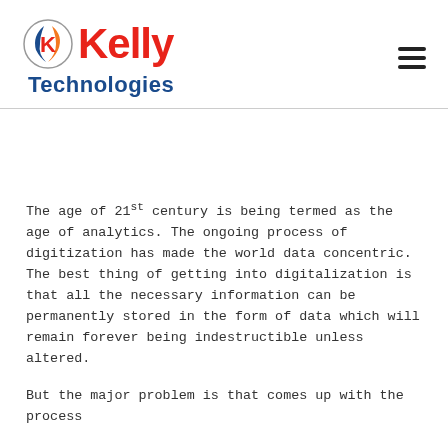[Figure (logo): Kelly Technologies logo with stylized flame/person icon on the left, bold red 'Kelly' text, and blue 'Technologies' text below]
The age of 21st century is being termed as the age of analytics. The ongoing process of digitization has made the world data concentric. The best thing of getting into digitalization is that all the necessary information can be permanently stored in the form of data which will remain forever being indestructible unless altered.
But the major problem is that comes up with the process